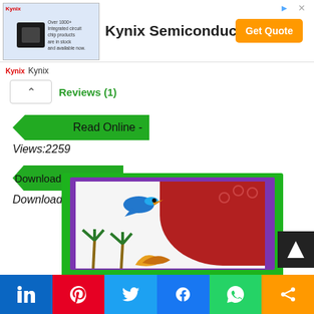[Figure (infographic): Kynix Semiconductor advertisement banner with chip image, 'Get Quote' button, and ad controls]
Kynix
Reviews (1)
Read Online - Views:2259
Download Free PDF - Downloads : 3051
[Figure (illustration): Book cover preview with purple border, red circular pattern, blue bird, and palm tree illustrations, inside a green frame]
[Figure (infographic): Social media sharing bar with LinkedIn, Pinterest, Twitter, Facebook, WhatsApp, and Share buttons]